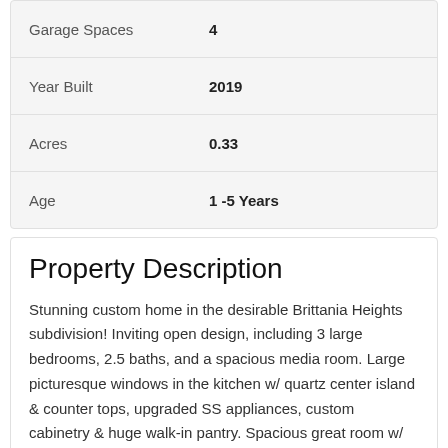| Property | Value |
| --- | --- |
| Garage Spaces | 4 |
| Year Built | 2019 |
| Acres | 0.33 |
| Age | 1 -5 Years |
Property Description
Stunning custom home in the desirable Brittania Heights subdivision! Inviting open design, including 3 large bedrooms, 2.5 baths, and a spacious media room. Large picturesque windows in the kitchen w/ quartz center island & counter tops, upgraded SS appliances, custom cabinetry & huge walk-in pantry. Spacious great room w/